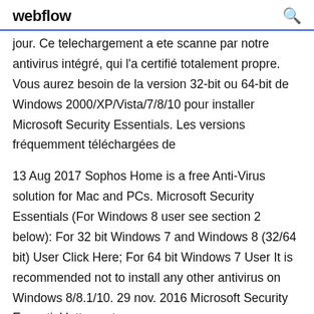webflow
jour. Ce telechargement a ete scanne par notre antivirus intégré, qui l'a certifié totalement propre. Vous aurez besoin de la version 32-bit ou 64-bit de Windows 2000/XP/Vista/7/8/10 pour installer Microsoft Security Essentials. Les versions fréquemment téléchargées de
13 Aug 2017 Sophos Home is a free Anti-Virus solution for Mac and PCs. Microsoft Security Essentials (For Windows 8 user see section 2 below): For 32 bit Windows 7 and Windows 8 (32/64 bit) User Click Here; For 64 bit Windows 7 User It is recommended not to install any other antivirus on Windows 8/8.1/10. 29 nov. 2016 Microsoft Security Essential lutte contre